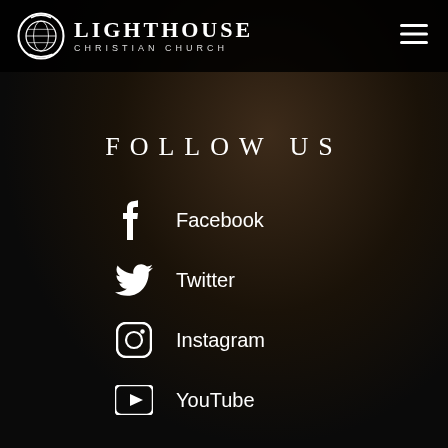Lighthouse Christian Church
FOLLOW US
Facebook
Twitter
Instagram
YouTube
©2020 Lighthouse Christian Church All rights reserved